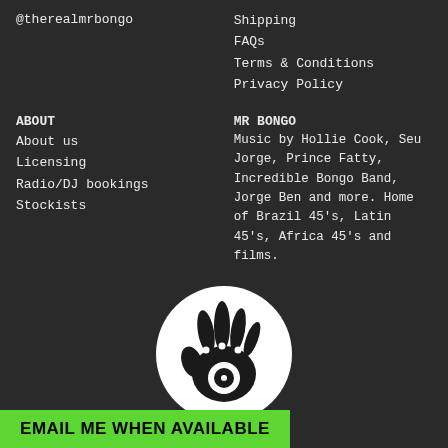@therealmrbongo
Shipping
FAQs
Terms & Conditions
Privacy Policy
ABOUT
About us
Licensing
Radio/DJ bookings
Stockists
MR BONGO
Music by Hollie Cook, Seu Jorge, Prince Fatty, Incredible Bongo Band, Jorge Ben and more. Home of Brazil 45's, Latin 45's, Africa 45's and films.
[Figure (logo): Mr Bongo logo: white circle with a stylized hand holding a vinyl record, black background]
© MR BONGO
1989 – 2018
EMAIL ME WHEN AVAILABLE